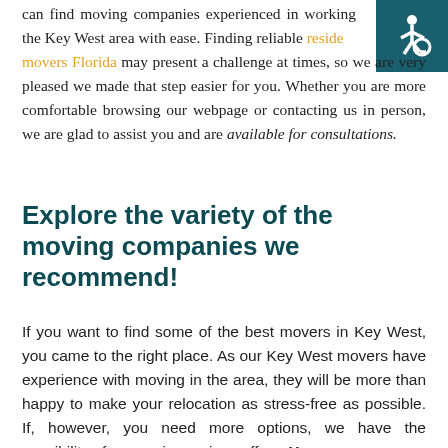can find moving companies experienced in working the Key West area with ease. Finding reliable residential movers Florida may present a challenge at times, so we are very pleased we made that step easier for you. Whether you are more comfortable browsing our webpage or contacting us in person, we are glad to assist you and are available for consultations.
[Figure (illustration): Wheelchair accessibility icon in white on dark teal background, top-right corner]
Explore the variety of the moving companies we recommend!
If you want to find some of the best movers in Key West, you came to the right place. As our Key West movers have experience with moving in the area, they will be more than happy to make your relocation as stress-free as possible. If, however, you need more options, we have the possibility of comparing various offers. You